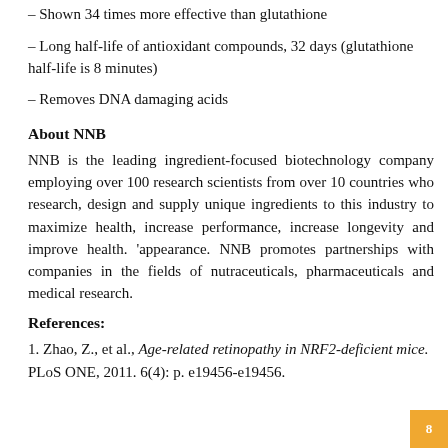– Shown 34 times more effective than glutathione
– Long half-life of antioxidant compounds, 32 days (glutathione half-life is 8 minutes)
– Removes DNA damaging acids
About NNB
NNB is the leading ingredient-focused biotechnology company employing over 100 research scientists from over 10 countries who research, design and supply unique ingredients to this industry to maximize health, increase performance, increase longevity and improve health. 'appearance. NNB promotes partnerships with companies in the fields of nutraceuticals, pharmaceuticals and medical research.
References:
1. Zhao, Z., et al., Age-related retinopathy in NRF2-deficient mice. PLoS ONE, 2011. 6(4): p. e19456-e19456.